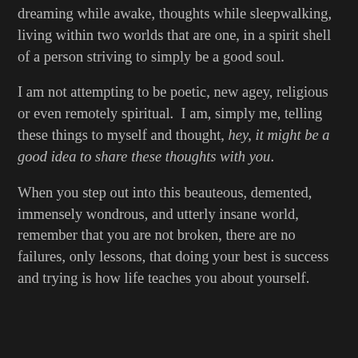dreaming while awake, thoughts while sleepwalking, living within two worlds that are one, in a spirit shell of a person striving to simply be a good soul.
I am not attempting to be poetic, new agey, religious or even remotely spiritual.  I am, simply me, telling these things to myself and thought, hey, it might be a good idea to share these thoughts with you.
When you step out into this beauteous, demented, immensely wondrous, and utterly insane world, remember that you are not broken, there are no failures, only lessons, that doing your best is success and trying is how life teaches you about yourself.